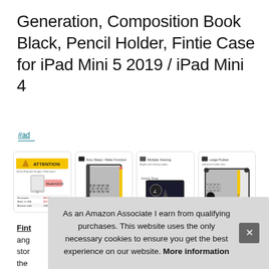Generation, Composition Book Black, Pencil Holder, Fintie Case for iPad Mini 5 2019 / iPad Mini 4
#ad
[Figure (photo): Four product images showing iPad Mini case: 1) Attention/compatibility warning card, 2) Auto Sleep/Wake function showing composition book style case, 3) Multiple viewing angles demonstration, 4) Large pocket feature showing pencil holder]
Fint... ang... stor... the...
As an Amazon Associate I earn from qualifying purchases. This website uses the only necessary cookies to ensure you get the best experience on our website. More information